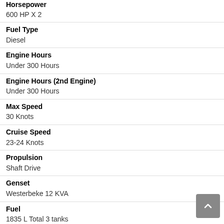Horsepower
600 HP X 2
Fuel Type
Diesel
Engine Hours
Under 300 Hours
Engine Hours (2nd Engine)
Under 300 Hours
Max Speed
30 Knots
Cruise Speed
23-24 Knots
Propulsion
Shaft Drive
Genset
Westerbeke 12 KVA
Fuel
1835 L Total 3 tanks
Water